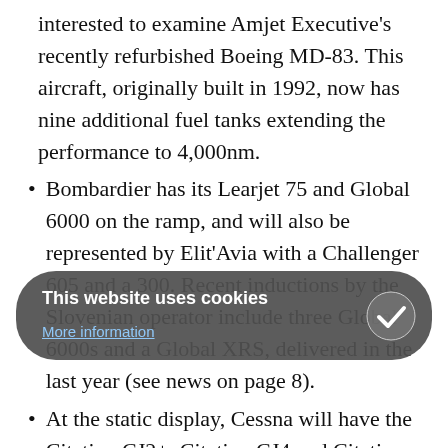interested to examine Amjet Executive's recently refurbished Boeing MD-83. This aircraft, originally built in 1992, now has nine additional fuel tanks extending the performance to 4,000nm.
Bombardier has its Learjet 75 and Global 6000 on the ramp, and will also be represented by Elit'Avia with a Challenger 605 and a 300. Recent inductions by the Slovenian operator include three Global 6000s and a Global XRS, delivered in the last year (see news on page 8).
At the static display, Cessna will have the Citation CJ2+, Citation CJ4 and Citation XLS+. In addition, it will have a Mobile Service Unit on display at its stand in Hall 7.
Daher-Socata remains tight-lipped on any plans to supplement its TBM850 single-engine turboprop with ...